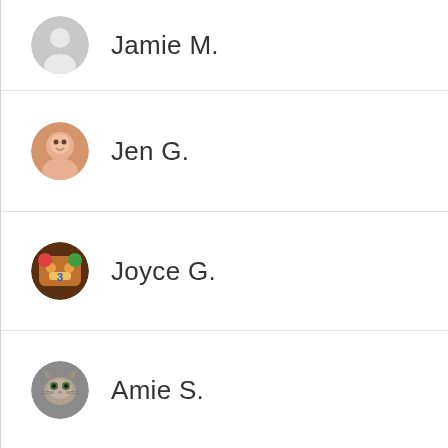Jamie M.
Jen G.
Joyce G.
Amie S.
Maria S.